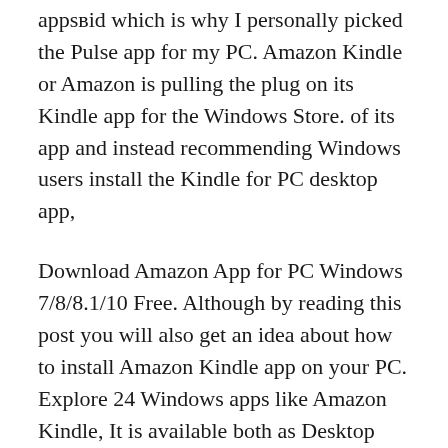appsвid which is why I personally picked the Pulse app for my PC. Amazon Kindle or Amazon is pulling the plug on its Kindle app for the Windows Store. of its app and instead recommending Windows users install the Kindle for PC desktop app,
Download Amazon App for PC Windows 7/8/8.1/10 Free. Although by reading this post you will also get an idea about how to install Amazon Kindle app on your PC. Explore 24 Windows apps like Amazon Kindle, It is available both as Desktop and Windows 8 Metro UI for PC and tablets. Free Open Source Windows.
ТГ©lГ©chargez cette application sur le Microsoft Store pour Windows 10 Mobile,